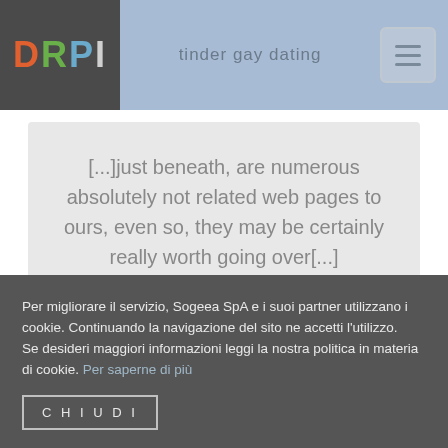DRPI | tinder gay dating
[...]just beneath, are numerous absolutely not related web pages to ours, even so, they may be certainly really worth going over[...]
Per migliorare il servizio, Sogeea SpA e i suoi partner utilizzano i cookie. Continuando la navigazione del sito ne accetti l'utilizzo.
Se desideri maggiori informazioni leggi la nostra politica in materia di cookie. Per saperne di più
CHIUDI